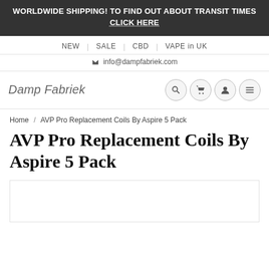WORLDWIDE SHIPPING! TO FIND OUT ABOUT TRANSIT TIMES CLICK HERE
NEW | SALE | CBD | VAPE in UK
info@dampfabriek.com
[Figure (logo): Damp Fabriek logo text with search, cart, account, and menu icon buttons]
Home / AVP Pro Replacement Coils By Aspire 5 Pack
AVP Pro Replacement Coils By Aspire 5 Pack